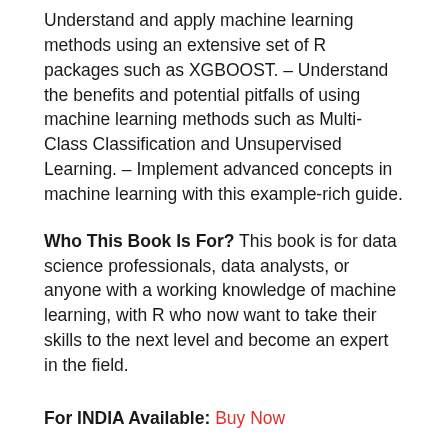Understand and apply machine learning methods using an extensive set of R packages such as XGBOOST. – Understand the benefits and potential pitfalls of using machine learning methods such as Multi-Class Classification and Unsupervised Learning. – Implement advanced concepts in machine learning with this example-rich guide.
Who This Book Is For? This book is for data science professionals, data analysts, or anyone with a working knowledge of machine learning, with R who now want to take their skills to the next level and become an expert in the field.
For INDIA Available: Buy Now